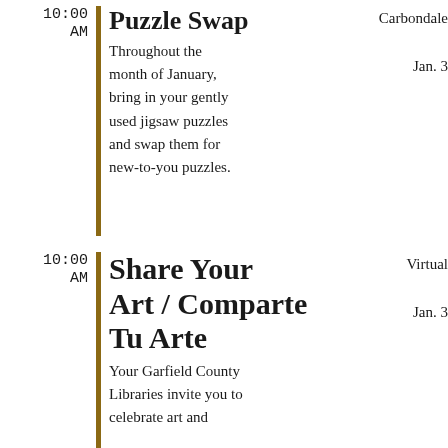10:00 AM | Puzzle Swap — Throughout the month of January, bring in your gently used jigsaw puzzles and swap them for new-to-you puzzles. — Carbondale, Jan. 3
10:00 AM | Share Your Art / Comparte Tu Arte — Your Garfield County Libraries invite you to celebrate art and — Virtual, Jan. 3